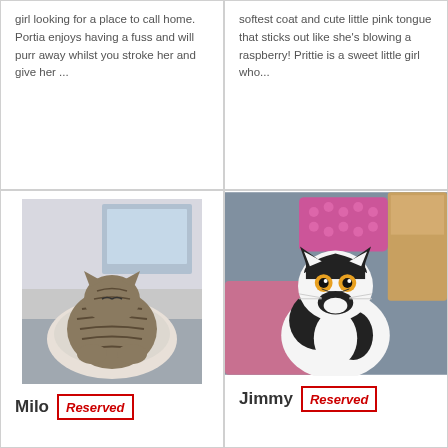girl looking for a place to call home. Portia enjoys having a fuss and will purr away whilst you stroke her and give her ...
softest coat and cute little pink tongue that sticks out like she's blowing a raspberry! Prittie is a sweet little girl who...
[Figure (photo): Tabby cat curled up in a bag or carrier, photographed from above]
Milo
Reserved
[Figure (photo): Black and white cat with yellow eyes looking up at camera, with pink mat and cardboard box in background]
Jimmy
Reserved